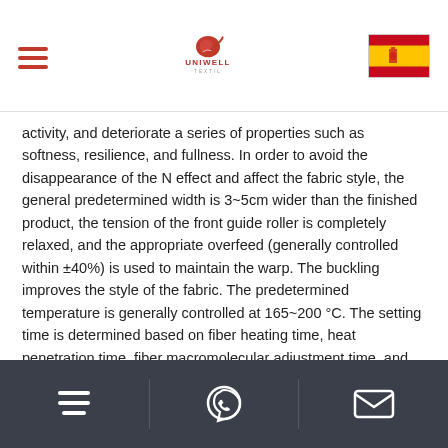Uniwell Textil
activity, and deteriorate a series of properties such as softness, resilience, and fullness. In order to avoid the disappearance of the N effect and affect the fabric style, the general predetermined width is 3~5cm wider than the finished product, the tension of the front guide roller is completely relaxed, and the appropriate overfeed (generally controlled within ±40%) is used to maintain the warp. The buckling improves the style of the fabric. The predetermined temperature is generally controlled at 165~200 °C. The setting time is determined based on fiber heating time, heat penetration time, fiber macromolecular adjustment time, and fabric cooling time. As long as the tension of the shaping is required to meet the flatness of the fabric, the appearance can be ensured, so as not to affect the texture of the fabric.
Navigation icons: menu, whatsapp, email